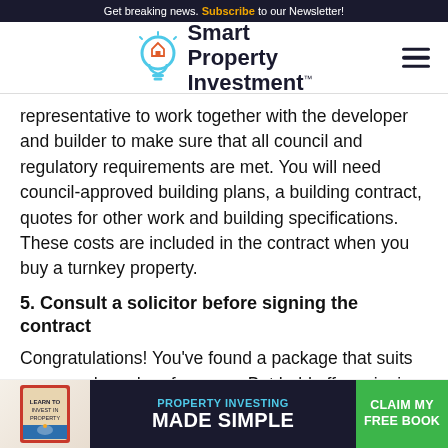Get breaking news. Subscribe to our Newsletter!
[Figure (logo): Smart Property Investment logo with lightbulb icon and hamburger menu]
representative to work together with the developer and builder to make sure that all council and regulatory requirements are met. You will need council-approved building plans, a building contract, quotes for other work and building specifications. These costs are included in the contract when you buy a turnkey property.
5. Consult a solicitor before signing the contract
Congratulations! You've found a package that suits your needs and preferences. But hold off on signing that dotted line before your solicitor can check the contract for workm and specifi
[Figure (infographic): Property Investing Made Simple advertisement banner with book image and Claim My Free Book CTA button]